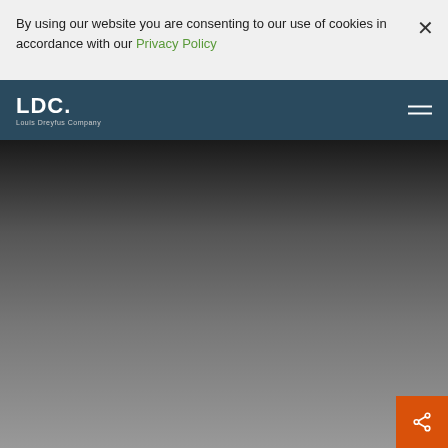By using our website you are consenting to our use of cookies in accordance with our Privacy Policy
[Figure (logo): LDC. Louis Dreyfus Company logo in white on dark teal navigation bar]
[Figure (photo): Dark hero image with gradient from near-black at top to medium grey at bottom]
NEWS & INSIGHTS / STORIES AND ARTICLES
The Global Merchant